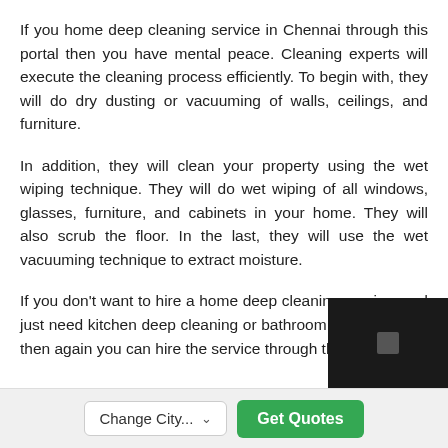If you home deep cleaning service in Chennai through this portal then you have mental peace. Cleaning experts will execute the cleaning process efficiently. To begin with, they will do dry dusting or vacuuming of walls, ceilings, and furniture.
In addition, they will clean your property using the wet wiping technique. They will do wet wiping of all windows, glasses, furniture, and cabinets in your home. They will also scrub the floor. In the last, they will use the wet vacuuming technique to extract moisture.
If you don't want to hire a home deep cleaning service, and just need kitchen deep cleaning or bathroom deep cleaning then again you can hire the service through this portal.
Change City... | Get Quotes